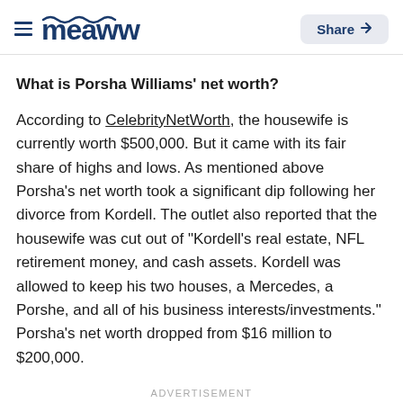Meaww | Share
What is Porsha Williams' net worth?
According to CelebrityNetWorth, the housewife is currently worth $500,000. But it came with its fair share of highs and lows. As mentioned above Porsha's net worth took a significant dip following her divorce from Kordell. The outlet also reported that the housewife was cut out of "Kordell's real estate, NFL retirement money, and cash assets. Kordell was allowed to keep his two houses, a Mercedes, a Porshe, and all of his business interests/investments." Porsha's net worth dropped from $16 million to $200,000.
ADVERTISEMENT